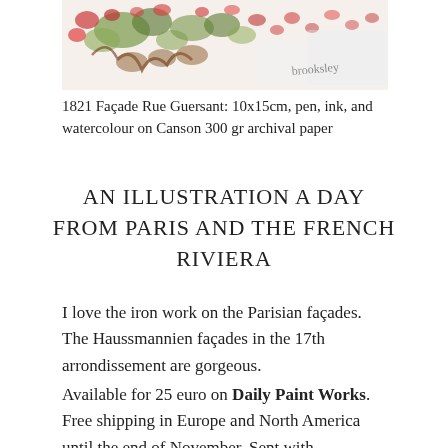[Figure (illustration): Watercolour painting of a Parisian facade with floral/foliage motifs in reds and greens, signed 'brooksley']
1821 Façade Rue Guersant: 10x15cm, pen, ink, and watercolour on Canson 300 gr archival paper
AN ILLUSTRATION A DAY FROM PARIS AND THE FRENCH RIVIERA
I love the iron work on the Parisian façades. The Haussmannien façades in the 17th arrondissement are gorgeous.
Available for 25 euro on Daily Paint Works. Free shipping in Europe and North America until the end of November. Sent with